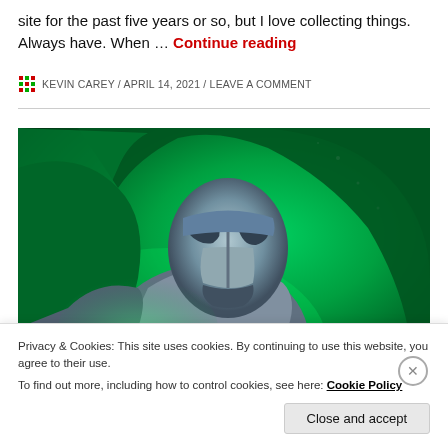site for the past five years or so, but I love collecting things. Always have. When … Continue reading
KEVIN CAREY / APRIL 14, 2021 / LEAVE A COMMENT
[Figure (illustration): Comic book style illustration of Doctor Doom character wearing a green hood and metallic armored mask and suit, looking menacing against a green glowing background.]
Privacy & Cookies: This site uses cookies. By continuing to use this website, you agree to their use.
To find out more, including how to control cookies, see here: Cookie Policy
Close and accept